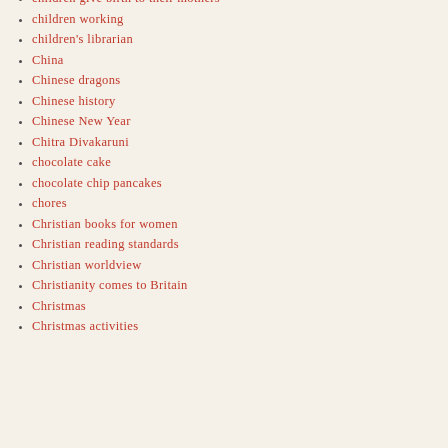children give birth to their mothers
children working
children's librarian
China
Chinese dragons
Chinese history
Chinese New Year
Chitra Divakaruni
chocolate cake
chocolate chip pancakes
chores
Christian books for women
Christian reading standards
Christian worldview
Christianity comes to Britain
Christmas
Christmas activities